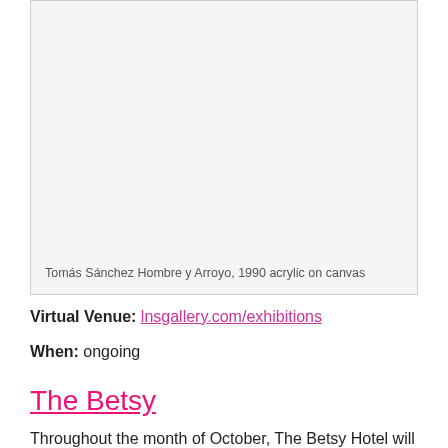[Figure (photo): Artwork image area with light gray background — Tomás Sánchez Hombre y Arroyo, 1990 acrylic on canvas]
Tomás Sánchez Hombre y Arroyo, 1990 acrylic on canvas
Virtual Venue: lnsgallery.com/exhibitions
When: ongoing
The Betsy
Throughout the month of October, The Betsy Hotel will